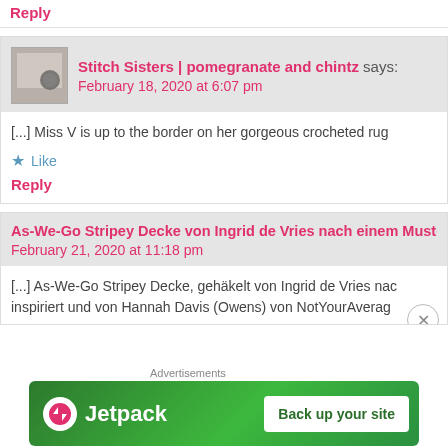Reply
Stitch Sisters | pomegranate and chintz says:
February 18, 2020 at 6:07 pm
[...] Miss V is up to the border on her gorgeous crocheted rug
Like
Reply
As-We-Go Stripey Decke von Ingrid de Vries nach einem Muster ge
February 21, 2020 at 11:18 pm
[...] As-We-Go Stripey Decke, gehäkelt von Ingrid de Vries nac inspiriert und von Hannah Davis (Owens) von NotYourAverag
[Figure (screenshot): Jetpack advertisement banner with green background, Jetpack logo and 'Back up your site' button]